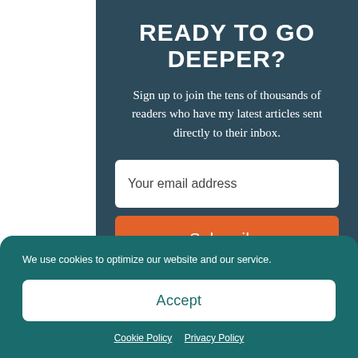READY TO GO DEEPER?
Sign up to join the tens of thousands of readers who have my latest articles sent directly to their inbox.
Your email address
Subscribe
We use cookies to optimize our website and our service.
Accept
Cookie Policy   Privacy Policy